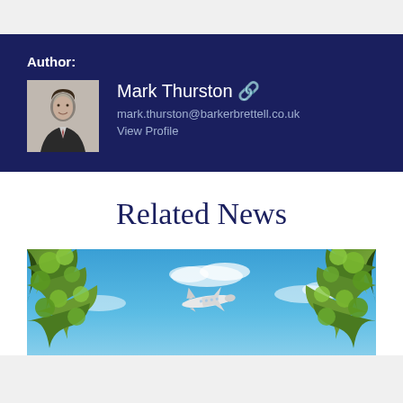Author:
Mark Thurston
mark.thurston@barkerbrettell.co.uk
View Profile
Related News
[Figure (photo): Aerial photo looking up through tree branches at a blue sky with a commercial airplane flying overhead]